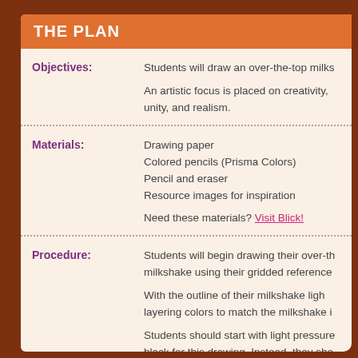THE PLAN
Objectives: Students will draw an over-the-top milkshake using their gridded reference. An artistic focus is placed on creativity, unity, and realism.
Materials: Drawing paper
Colored pencils (Prisma Colors)
Pencil and eraser
Resource images for inspiration
Need these materials? Visit Blick!
Procedure: Students will begin drawing their over-the-top milkshake using their gridded reference. With the outline of their milkshake lightly drawn, students will begin layering colors to match the milkshake image. Students should start with light pressure and avoid using black for this drawing. Instead, they should layer dark colors to achieve black coloring. After students have completed the outline, they will begin to apply color onto their drawing. (Students should practice blending with colored pencils prior to beginning their drawing.) Applying color, referencing their inspiration image.